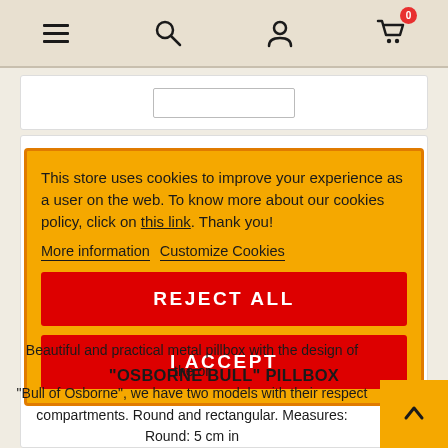[Figure (screenshot): Website navigation bar with hamburger menu, search, user, and cart icons. Cart shows badge with '0'.]
This store uses cookies to improve your experience as a user on the web. To know more about our cookies policy, click on this link. Thank you!
More information   Customize Cookies
REJECT ALL
I ACCEPT
"OSBORNE BULL" PILLBOX
Beautiful and practical metal pillbox with the design of the original "Bull of Osborne", we have two models with their respective compartments. Round and rectangular. Measures: Round: 5 cm in